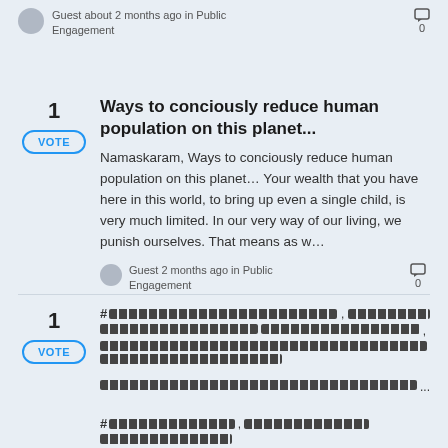Guest about 2 months ago in Public Engagement
0
Ways to conciously reduce human population on this planet...
Namaskaram, Ways to conciously reduce human population on this planet... Your wealth that you have here in this world, to bring up even a single child, is very much limited. In our very way of our living, we punish ourselves. That means as w...
Guest 2 months ago in Public Engagement
0
[Non-Latin script content - garbled]
[Non-Latin script content - garbled]